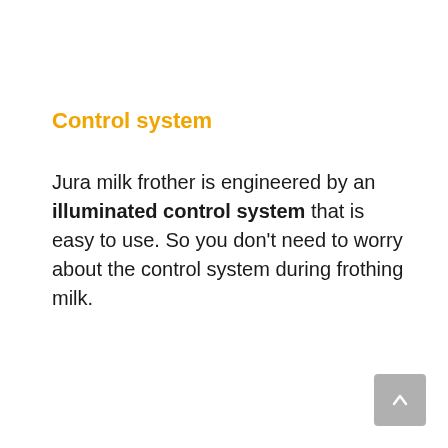Control system
Jura milk frother is engineered by an illuminated control system that is easy to use. So you don't need to worry about the control system during frothing milk.